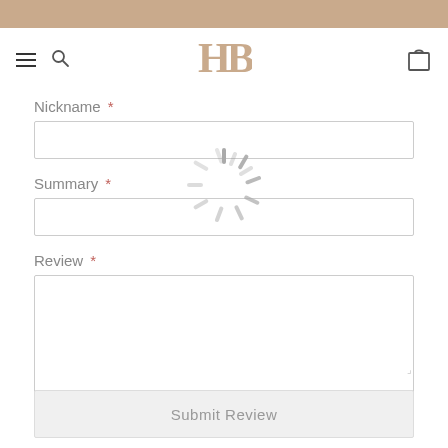[Figure (logo): HB monogram logo in tan/gold color]
Nickname *
Summary *
[Figure (other): Loading spinner (rotating dashes circular preloader) overlaid on the form]
Review *
Submit Review